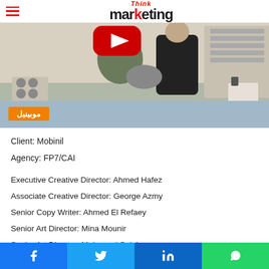Think marketing
[Figure (photo): A scene showing two people in a kitchen setting with a Mobinil orange badge overlay in Arabic text موبينيل]
Client: Mobinil
Agency: FP7/CAI
Executive Creative Director: Ahmed Hafez
Associate Creative Director: George Azmy
Senior Copy Writer: Ahmed El Refaey
Senior Art Director: Mina Mounir
Senior Art Director: Mohamed Salah
Facebook Twitter LinkedIn WhatsApp